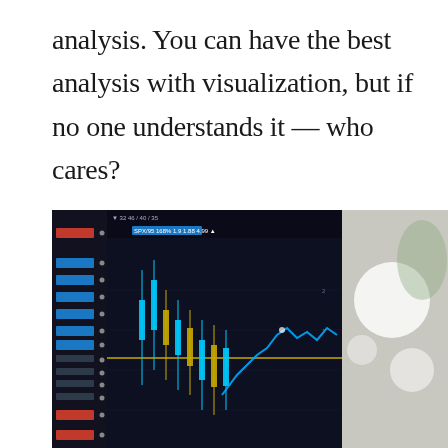analysis. You can have the best analysis with visualization, but if no one understands it — who cares?
[Figure (photo): A trading screen showing financial charts with candlestick patterns and a blue line chart, displayed on a dark monitor with data panels on the left side. A blurred background with bright light and a green plant is visible on the right.]